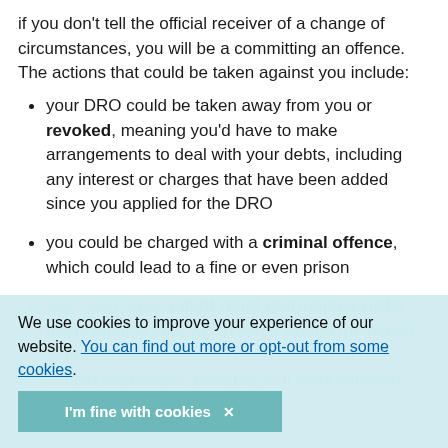if you don't tell the official receiver of a change of circumstances, you will be a committing an offence. The actions that could be taken against you include:
your DRO could be taken away from you or revoked, meaning you'd have to make arrangements to deal with your debts, including any interest or charges that have been added since you applied for the DRO
you could be charged with a criminal offence, which could lead to a fine or even prison
you could have a debt relief restrictions order made against you, which could extend the period of time during which you may be affected by certain restrictions, possibly your work situation, for up to 15 years.
We use cookies to improve your experience of our website. You can find out more or opt-out from some cookies.